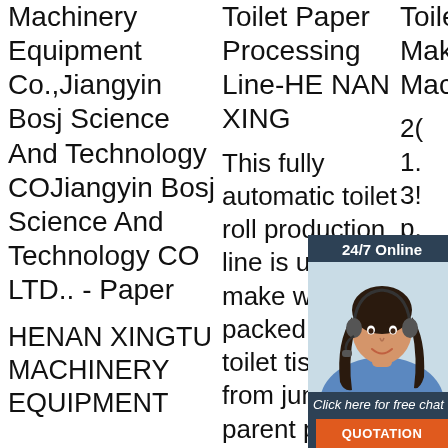Machinery Equipment Co.,Jiangyin Bosj Science And Technology COJiangyin Bosj Science And Technology CO LTD.. - Paper
HENAN XINGTU MACHINERY EQUIPMENT
Toilet Paper Processing Line-HE NAN XING
This fully automatic toilet roll production line is used to make well packed small toilet tissue roll from jumbo parent paper roll. toilet tissue paper rewinding machine. the
Toilet Tissue Making Machine F
2( 1. 3! p. m. co la cutters and automatic packaging units into a fully automated
[Figure (photo): Customer service representative chat widget with woman wearing headset, 24/7 Online banner, click here for free chat text, and QUOTATION button]
[Figure (other): TOP circular dotted badge in orange]